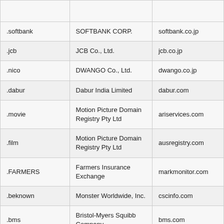|  |  |  |
| .softbank | SOFTBANK CORP. | softbank.co.jp |
| .jcb | JCB Co., Ltd. | jcb.co.jp |
| .nico | DWANGO Co., Ltd. | dwango.co.jp |
| .dabur | Dabur India Limited | dabur.com |
| .movie | Motion Picture Domain Registry Pty Ltd | ariservices.com |
| .film | Motion Picture Domain Registry Pty Ltd | ausregistry.com |
| .FARMERS | Farmers Insurance Exchange | markmonitor.com |
| .beknown | Monster Worldwide, Inc. | cscinfo.com |
| .bms | Bristol-Myers Squibb Company | bms.com |